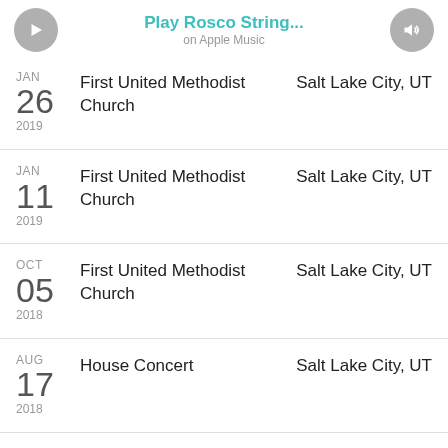Play Rosco String... on Apple Music
JAN 26 2019 | First United Methodist Church | Salt Lake City, UT
JAN 11 2019 | First United Methodist Church | Salt Lake City, UT
OCT 05 2018 | First United Methodist Church | Salt Lake City, UT
AUG 17 2018 | House Concert | Salt Lake City, UT
MAR 18 2018 | South Valley Unitarian Universalist Society | Cottonwood Heights, UT
MAR ...